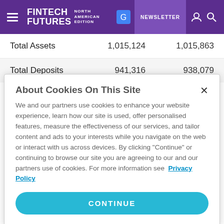FINTECH FUTURES NORTH AMERICAN EDITION | NEWSLETTER
|  |  |  |
| --- | --- | --- |
| Total Assets | 1,015,124 | 1,015,863 |
| Total Deposits | 941,316 | 938,079 |
About Cookies On This Site
We and our partners use cookies to enhance your website experience, learn how our site is used, offer personalised features, measure the effectiveness of our services, and tailor content and ads to your interests while you navigate on the web or interact with us across devices. By clicking "Continue" or continuing to browse our site you are agreeing to our and our partners use of cookies. For more information see Privacy Policy